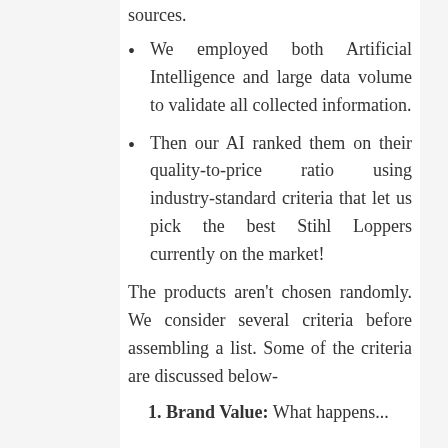sources.
We employed both Artificial Intelligence and large data volume to validate all collected information.
Then our AI ranked them on their quality-to-price ratio using industry-standard criteria that let us pick the best Stihl Loppers currently on the market!
The products aren't chosen randomly. We consider several criteria before assembling a list. Some of the criteria are discussed below-
Brand Value: What happens...